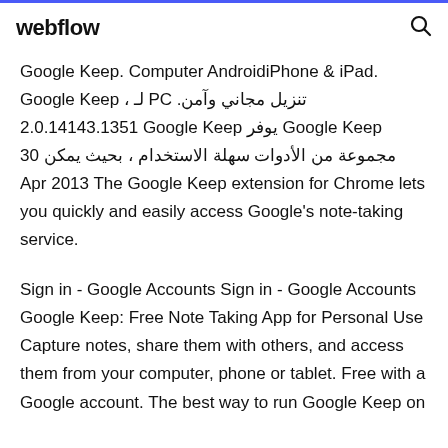webflow
Google Keep. Computer AndroidiPhone & iPad. Google Keep ، لـ PC تنزيل مجاني وآمن. 2.0.14143.1351 Google Keep يوفر Google Keep مجموعة من الأدوات سهلة الاستخدام ، بحيث يمكن 30 Apr 2013 The Google Keep extension for Chrome lets you quickly and easily access Google's note-taking service.
Sign in - Google Accounts Sign in - Google Accounts Google Keep: Free Note Taking App for Personal Use Capture notes, share them with others, and access them from your computer, phone or tablet. Free with a Google account. The best way to run Google Keep on